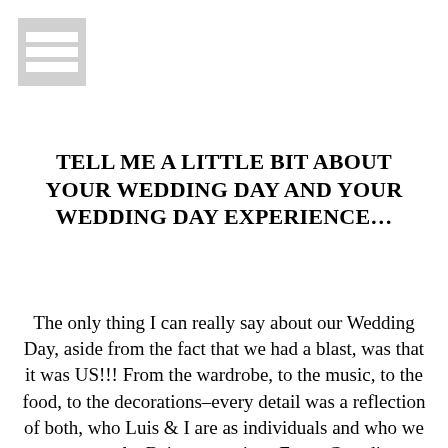[Figure (other): Hamburger menu icon — three horizontal gray bars stacked vertically]
TELL ME A LITTLE BIT ABOUT YOUR WEDDING DAY AND YOUR WEDDING DAY EXPERIENCE…
The only thing I can really say about our Wedding Day, aside from the fact that we had a blast, was that it was US!!! From the wardrobe, to the music, to the food, to the decorations–every detail was a reflection of both, who Luis & I are as individuals and who we are as a couple. Being a previous Event Coordinator, I made the decision to tackle most of the planning, decorating & coordinating myself. We spent over a year crafting, bargain hunting, building, DIYing & up-cycling as much as we could. Looking back, it was a lofty & time-consuming endeavor, but the hard